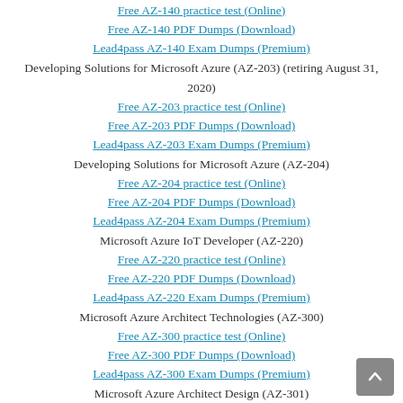Free AZ-140 practice test (Online)
Free AZ-140 PDF Dumps (Download)
Lead4pass AZ-140 Exam Dumps (Premium)
Developing Solutions for Microsoft Azure (AZ-203) (retiring August 31, 2020)
Free AZ-203 practice test (Online)
Free AZ-203 PDF Dumps (Download)
Lead4pass AZ-203 Exam Dumps (Premium)
Developing Solutions for Microsoft Azure (AZ-204)
Free AZ-204 practice test (Online)
Free AZ-204 PDF Dumps (Download)
Lead4pass AZ-204 Exam Dumps (Premium)
Microsoft Azure IoT Developer (AZ-220)
Free AZ-220 practice test (Online)
Free AZ-220 PDF Dumps (Download)
Lead4pass AZ-220 Exam Dumps (Premium)
Microsoft Azure Architect Technologies (AZ-300)
Free AZ-300 practice test (Online)
Free AZ-300 PDF Dumps (Download)
Lead4pass AZ-300 Exam Dumps (Premium)
Microsoft Azure Architect Design (AZ-301)
Free AZ-301 practice test (Online)